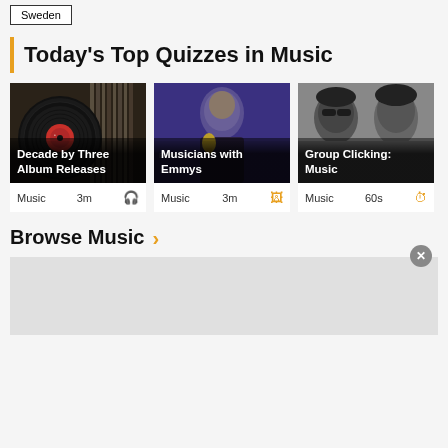Sweden
Today's Top Quizzes in Music
[Figure (photo): Vinyl records with a black record in foreground with red label. Card overlay text: Decade by Three Album Releases. Meta: Music, 3m]
[Figure (photo): Man in tuxedo kissing Emmy award trophy on purple background. Card overlay text: Musicians with Emmys. Meta: Music, 3m]
[Figure (photo): Black and white photo of two musicians. Card overlay text: Group Clicking: Music. Meta: Music, 60s]
Browse Music